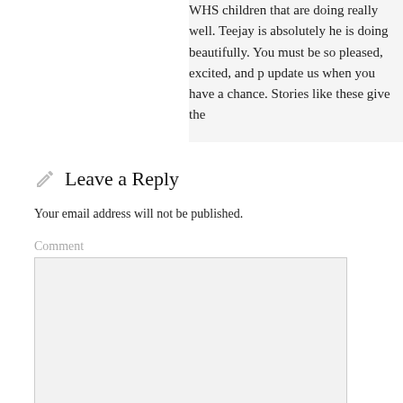WHS children that are doing really well. Teejay is absolutely he is doing beautifully. You must be so pleased, excited, and p update us when you have a chance. Stories like these give the
Leave a Reply
Your email address will not be published.
Comment
Name